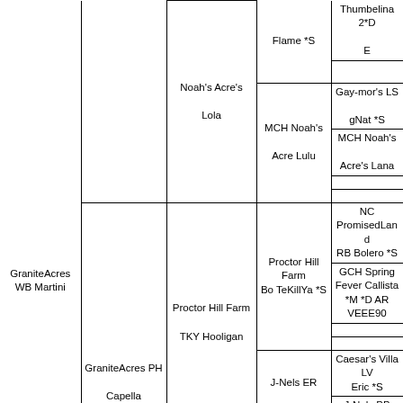| Col1 | Col2 | Col3 | Col4 | Col5 |
| --- | --- | --- | --- | --- |
| GraniteAcres WB Martini |  | Noah's Acre's Lola | Flame *S | Thumbelina 2*D E |
|  |  |  | MCH Noah's Acre Lulu | Gay-mor's LS gNat *S |
|  |  |  |  | MCH Noah's Acre's Lana |
|  |  | Proctor Hill Farm TKY Hooligan | Proctor Hill Farm Bo TeKillYa *S | NC PromisedLand RB Bolero *S |
|  |  |  |  | GCH Spring Fever Callista *M *D AR VEEE90 |
|  |  |  | J-Nels ER Delight | Caesar's Villa LV Eric *S |
|  |  |  |  | J-Nels BB Divinity |
|  | GraniteAcres PH Capella |  | NC PromisedLand S | Caesar's Villa STS Sharpie *S |
|  |  |  |  | NC |